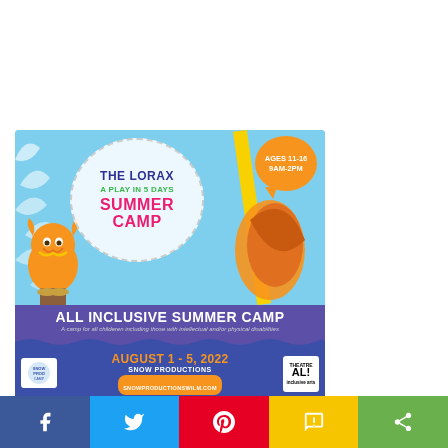[Figure (illustration): Summer camp advertisement for 'The Lorax: A Play in 5 Days' summer camp by Snow Productions. Features Lorax character illustration on light blue background with white circle containing title text, orange speech bubble saying 'AGES 11-16 9AM-2PM', purple banner saying 'ALL INCLUSIVE SUMMER CAMP', dates 'AUGUST 1-5, 2022', website 'SNOWPRODUCTIONSWILM.COM', and Gospel Choir information at bottom.]
[Figure (infographic): Social media share bar with Facebook (blue), Twitter (light blue), Pinterest (red), SMS (yellow), and Share (green) buttons]